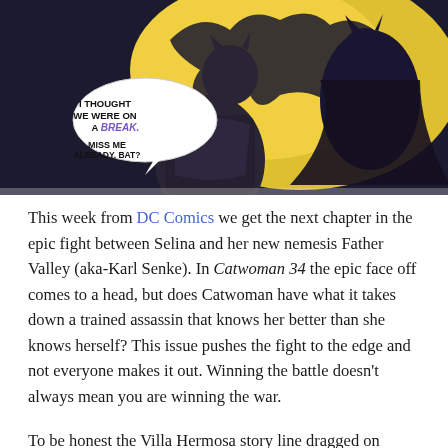[Figure (illustration): Comic book panel showing Catwoman in a dark costume against a yellow bat-symbol background. A speech bubble reads 'I THOUGHT WE WERE ON A BREAK.' in italic purple text, followed by 'MISS ME ALREADY, BAT?' in bold black text.]
This week from DC Comics we get the next chapter in the epic fight between Selina and her new nemesis Father Valley (aka-Karl Senke). In Catwoman 34 the epic face off comes to a head, but does Catwoman have what it takes down a trained assassin that knows her better than she knows herself? This issue pushes the fight to the edge and not everyone makes it out. Winning the battle doesn't always mean you are winning the war.
To be honest the Villa Hermosa story line dragged on